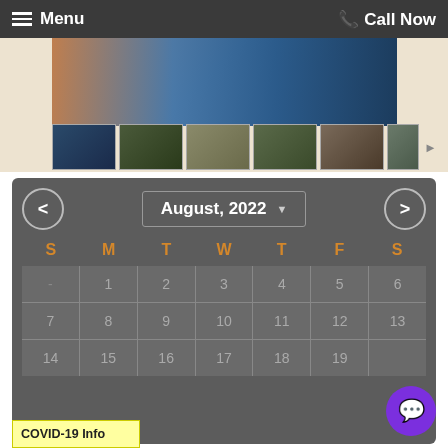Menu | Call Now
[Figure (photo): Rental cabin property photo gallery showing hot tub/deck area and thumbnail images of interior and exterior views]
| S | M | T | W | T | F | S |
| --- | --- | --- | --- | --- | --- | --- |
| - | 1 | 2 | 3 | 4 | 5 | 6 |
| 7 | 8 | 9 | 10 | 11 | 12 | 13 |
| 14 | 15 | 16 | 17 | 18 | 19 |  |
COVID-19 Info